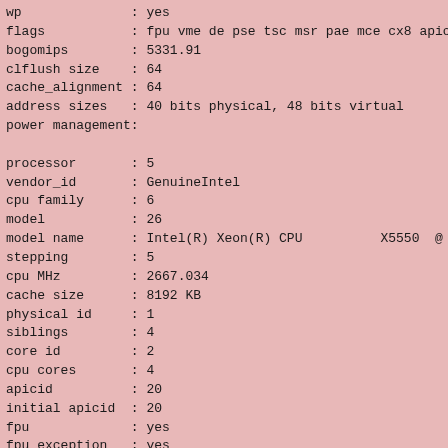wp              : yes
flags           : fpu vme de pse tsc msr pae mce cx8 apic mtr
bogomips        : 5331.91
clflush size    : 64
cache_alignment : 64
address sizes   : 40 bits physical, 48 bits virtual
power management:

processor       : 5
vendor_id       : GenuineIntel
cpu family      : 6
model           : 26
model name      : Intel(R) Xeon(R) CPU          X5550  @ 2.6
stepping        : 5
cpu MHz         : 2667.034
cache size      : 8192 KB
physical id     : 1
siblings        : 4
core id         : 2
cpu cores       : 4
apicid          : 20
initial apicid  : 20
fpu             : yes
fpu_exception   : yes
cpuid level     : 11
wp              : yes
flags           : fpu vme de pse tsc msr pae mce cx8 apic mtr
bogomips        : 5331.91
clflush size    : 64
cache_alignment : 64
address sizes   : 40 bits physical, 48 bits virtual
power management: